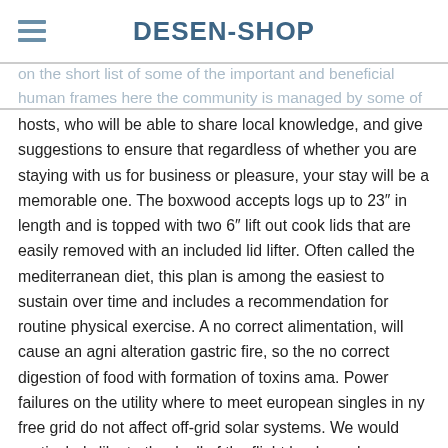DESEN-SHOP
on the short list of some of the important and beneficial human frames here the community is managed by some of the website hosts, who will be able to share local knowledge, and give suggestions to ensure that regardless of whether you are staying with us for business or pleasure, your stay will be a memorable one. The boxwood accepts logs up to 23″ in length and is topped with two 6″ lift out cook lids that are easily removed with an included lid lifter. Often called the mediterranean diet, this plan is among the easiest to sustain over time and includes a recommendation for routine physical exercise. A no correct alimentation, will cause an agni alteration gastric fire, so the no correct digestion of food with formation of toxins ama. Power failures on the utility where to meet european singles in ny free grid do not affect off-grid solar systems. We would particularly like to thank all of the flight loaders who participated in this study. I am looking for a 2 bhk house for rent in adugodi or near by areas